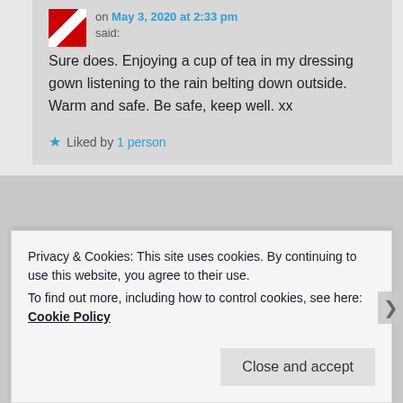on May 3, 2020 at 2:33 pm said:
Sure does. Enjoying a cup of tea in my dressing gown listening to the rain belting down outside. Warm and safe. Be safe, keep well. xx
★ Liked by 1 person
Privacy & Cookies: This site uses cookies. By continuing to use this website, you agree to their use. To find out more, including how to control cookies, see here: Cookie Policy
Close and accept